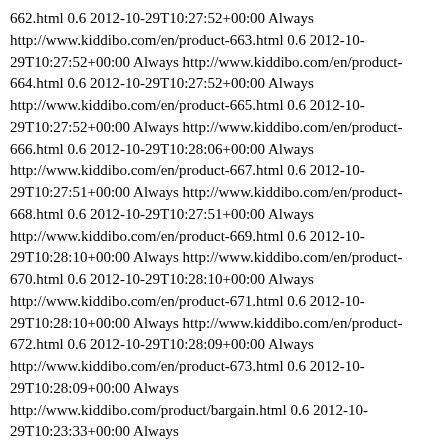662.html 0.6 2012-10-29T10:27:52+00:00 Always http://www.kiddibo.com/en/product-663.html 0.6 2012-10-29T10:27:52+00:00 Always http://www.kiddibo.com/en/product-664.html 0.6 2012-10-29T10:27:52+00:00 Always http://www.kiddibo.com/en/product-665.html 0.6 2012-10-29T10:27:52+00:00 Always http://www.kiddibo.com/en/product-666.html 0.6 2012-10-28:06+00:00 Always http://www.kiddibo.com/en/product-667.html 0.6 2012-10-29T10:27:51+00:00 Always http://www.kiddibo.com/en/product-668.html 0.6 2012-10-29T10:27:51+00:00 Always http://www.kiddibo.com/en/product-669.html 0.6 2012-10-29T10:28:10+00:00 Always http://www.kiddibo.com/en/product-670.html 0.6 2012-10-29T10:28:10+00:00 Always http://www.kiddibo.com/en/product-671.html 0.6 2012-10-29T10:28:10+00:00 Always http://www.kiddibo.com/en/product-672.html 0.6 2012-10-29T10:28:09+00:00 Always http://www.kiddibo.com/en/product-673.html 0.6 2012-10-29T10:28:09+00:00 Always http://www.kiddibo.com/product/bargain.html 0.6 2012-10-29T10:23:33+00:00 Always http://www.kiddibo.com/product/new.html 0.6 2012-10-29T10:23:34+00:00 Always http://www.kiddibo.com/product/recommend.html 0.6 2012-10-29T10:23:34+00:00 Always http://www.kiddibo.com/en/category-265/ 0.4 2012-10-29T10:27:50+00:00 Always